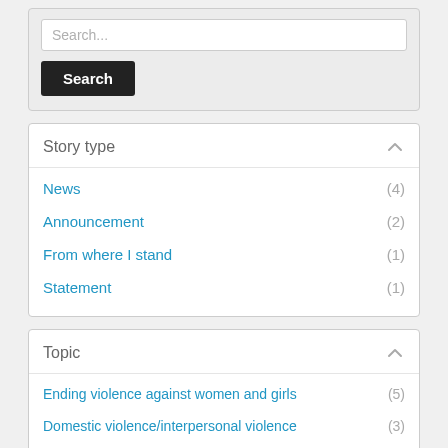Search...
Search
Story type
News (4)
Announcement (2)
From where I stand (1)
Statement (1)
Topic
Ending violence against women and girls (5)
Domestic violence/interpersonal violence (3)
Anti-violence interventions (1)
Children's rights (1)
Gender equality and women's empowerment (1)